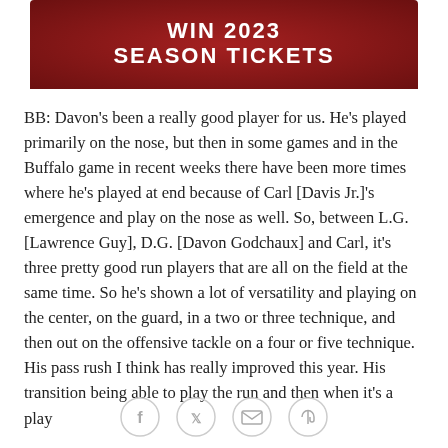[Figure (other): Dark red/maroon banner with bold white text reading WIN 2023 SEASON TICKETS]
BB: Davon's been a really good player for us. He's played primarily on the nose, but then in some games and in the Buffalo game in recent weeks there have been more times where he's played at end because of Carl [Davis Jr.]'s emergence and play on the nose as well. So, between L.G. [Lawrence Guy], D.G. [Davon Godchaux] and Carl, it's three pretty good run players that are all on the field at the same time. So he's shown a lot of versatility and playing on the center, on the guard, in a two or three technique, and then out on the offensive tackle on a four or five technique. His pass rush I think has really improved this year. His transition being able to play the run and then when it's a play
[Figure (other): Social sharing icons: Facebook, Twitter, email, link]